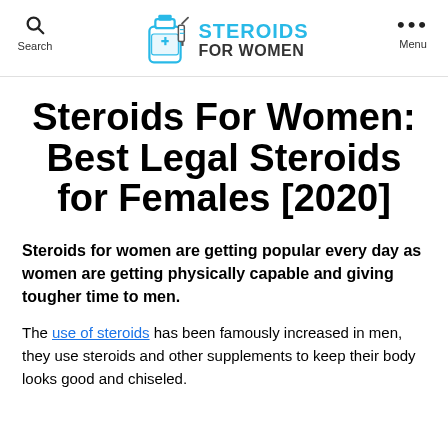Search | Steroids For Women | Menu
Steroids For Women: Best Legal Steroids for Females [2020]
Steroids for women are getting popular every day as women are getting physically capable and giving tougher time to men.
The use of steroids has been famously increased in men, they use steroids and other supplements to keep their body looks good and chiseled.